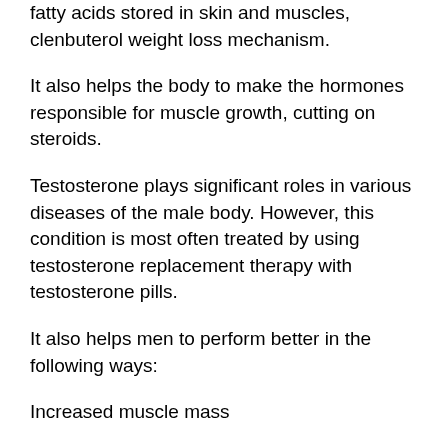fatty acids stored in skin and muscles, clenbuterol weight loss mechanism.
It also helps the body to make the hormones responsible for muscle growth, cutting on steroids.
Testosterone plays significant roles in various diseases of the male body. However, this condition is most often treated by using testosterone replacement therapy with testosterone pills.
It also helps men to perform better in the following ways:
Increased muscle mass
Increased strength
Reduced fat mass